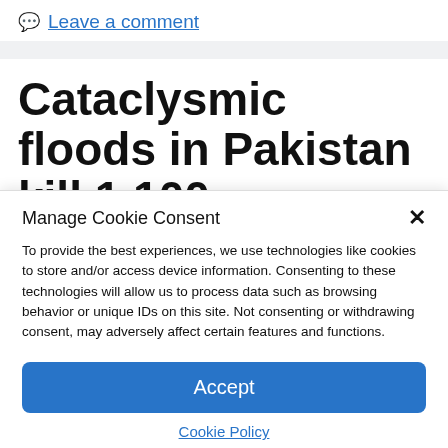Leave a comment
Cataclysmic floods in Pakistan kill 1,100,
Manage Cookie Consent
To provide the best experiences, we use technologies like cookies to store and/or access device information. Consenting to these technologies will allow us to process data such as browsing behavior or unique IDs on this site. Not consenting or withdrawing consent, may adversely affect certain features and functions.
Accept
Cookie Policy